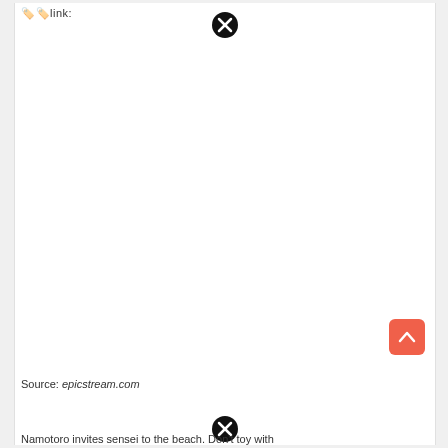🏷️🏷️link:
[Figure (other): Black circular close/dismiss button (X icon) at top center of page]
[Figure (other): Coral/red rounded square scroll-to-top button with upward arrow icon, positioned bottom-right]
Source: epicstream.com
[Figure (other): Black circular close/dismiss button (X icon) at bottom center of page]
Namotoro invites sensei to the beach. Don't toy with